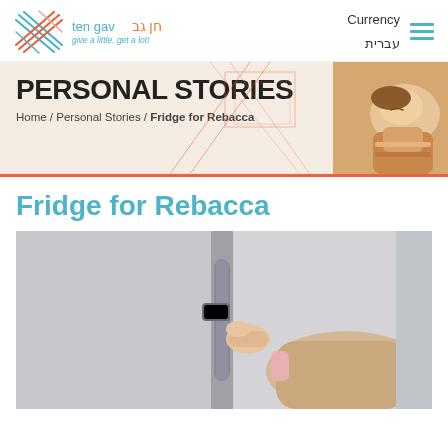ten gav / חן גב — give a little. get a lot! | Currency | עברית
[Figure (photo): Personal Stories banner with large bold heading 'PERSONAL STORIES', breadcrumb navigation 'Home / Personal Stories / Fridge for Rebacca', geometric red line illustration, and photo of sleeping child]
Fridge for Rebacca
[Figure (photo): Close-up photo of a person's hand gripping a refrigerator door handle, white fridge, person wearing a beige knit sweater]